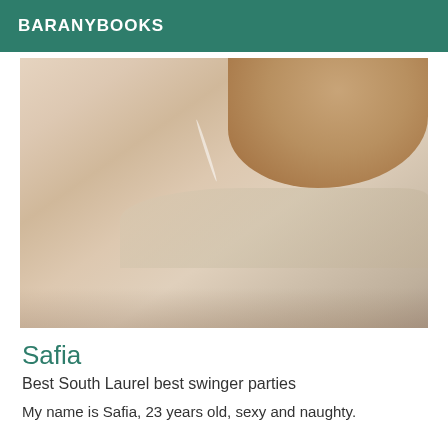BARANYBOOKS
[Figure (photo): Close-up photo showing skin/body, beige and tan tones with a hand visible at the top right]
Safia
Best South Laurel best swinger parties
My name is Safia, 23 years old, sexy and naughty.